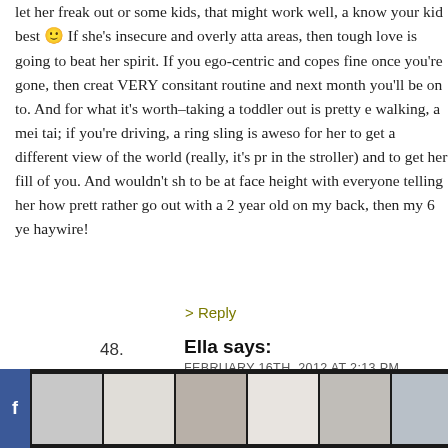let her freak out or some kids, that might work well, a know your kid best 🙂 If she's insecure and overly attached areas, then tough love is going to beat her spirit. If you ego-centric and copes fine once you're gone, then create VERY consitant routine and next month you'll be on to And for what it's worth–taking a toddler out is pretty e walking, a mei tai; if you're driving, a ring sling is awesome for her to get a different view of the world (really, it's pr in the stroller) and to get her fill of you. And wouldn't sh to be at face height with everyone telling her how pretty rather go out with a 2 year old on my back, then my 6 ye haywire!
> Reply
48.   Ella says:
FEBRUARY 16TH, 2012 AT 2:13 PM
I'm sure someone already commented this, but often ki comfort when you tell them, "I'm going to the store, and shampoo and Cheerios and apple sauce!" That way, wh
[Figure (screenshot): Bottom advertisement bar with thumbnail images of furniture/home decor, Ashley Furniture logo badge, Facebook icon on left, and close/navigation buttons]